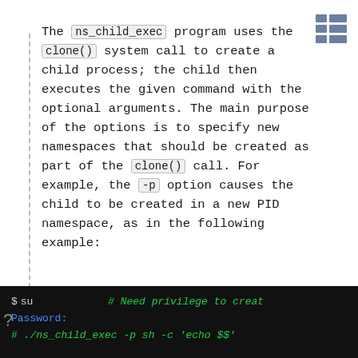The ns_child_exec program uses the clone() system call to create a child process; the child then executes the given command with the optional arguments. The main purpose of the options is to specify new namespaces that should be created as part of the clone() call. For example, the -p option causes the child to be created in a new PID namespace, as in the following example:
ns_child_exec [blocks] clone() [blocks] arguments [blocks] command [blocks] options [blocks] clone() [blocks] -p [blocks] PID [blocks]
[Figure (screenshot): Terminal window showing: '$ su   # Need privilege to creat', 'Password:', '# ./ns_child_exec -p sh -c \'echo $$\'']